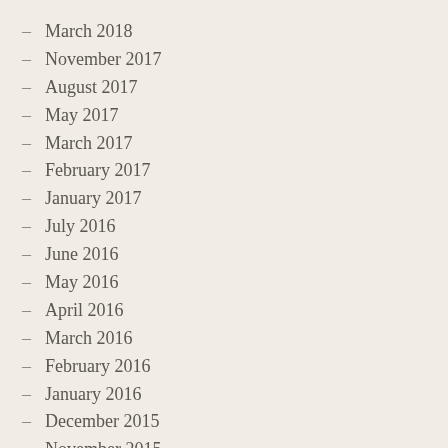– March 2018
– November 2017
– August 2017
– May 2017
– March 2017
– February 2017
– January 2017
– July 2016
– June 2016
– May 2016
– April 2016
– March 2016
– February 2016
– January 2016
– December 2015
– November 2015
– October 2015
– September 2015
– August 2015
– July 2015